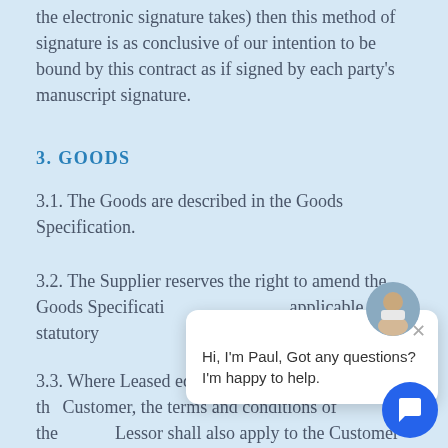the electronic signature takes) then this method of signature is as conclusive of our intention to be bound by this contract as if signed by each party's manuscript signature.
3. GOODS
3.1. The Goods are described in the Goods Specification.
3.2. The Supplier reserves the right to amend the Goods Specification if required by applicable statutory or regulatory requirement, and the Supplier shall notify the Customer in any such event.
3.3. Where Leased equipment is supplied to the Customer, the terms and conditions of the Lessor shall also apply to the Customer in addition to these Conditions.